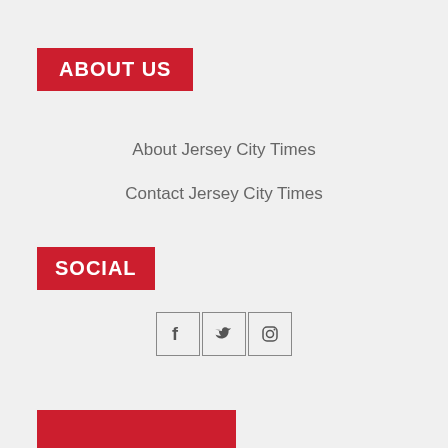ABOUT US
About Jersey City Times
Contact Jersey City Times
SOCIAL
[Figure (illustration): Three social media icon buttons in square borders: Facebook (f), Twitter (bird), Instagram (camera)]